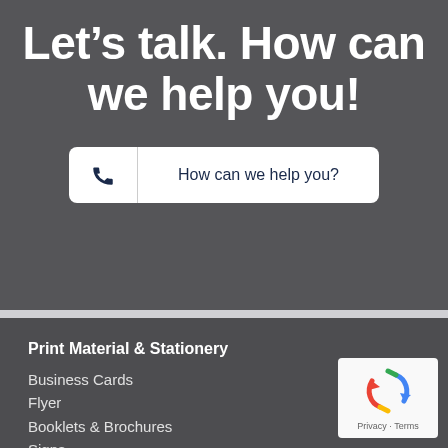Let’s talk. How can we help you!
How can we help you?
Print Material & Stationery
Business Cards
Flyer
Booklets & Brochures
Signs
[Figure (logo): reCAPTCHA badge with Privacy and Terms links]